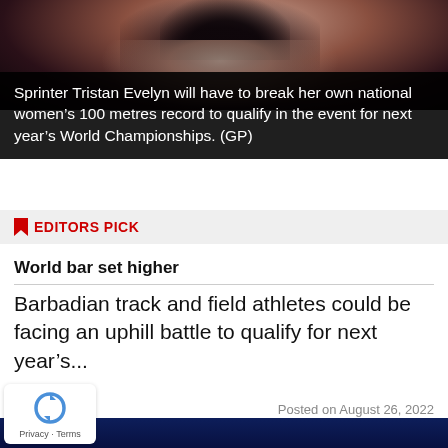[Figure (photo): Photo of sprinter Tristan Evelyn, showing upper body, wearing a light-colored top, with dark hair.]
Sprinter Tristan Evelyn will have to break her own national women’s 100 metres record to qualify in the event for next year’s World Championships. (GP)
EDITORS PICK
World bar set higher
Barbadian track and field athletes could be facing an uphill battle to qualify for next year’s...
Posted on August 26, 2022
[Figure (screenshot): NationNews 'FROM THE COURTS' branded image on dark blue background.]